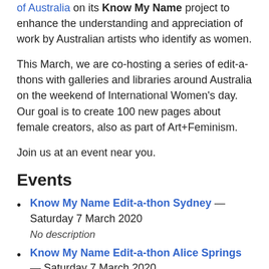of Australia on its Know My Name project to enhance the understanding and appreciation of work by Australian artists who identify as women.
This March, we are co-hosting a series of edit-a-thons with galleries and libraries around Australia on the weekend of International Women's day. Our goal is to create 100 new pages about female creators, also as part of Art+Feminism.
Join us at an event near you.
Events
Know My Name Edit-a-thon Sydney — Saturday 7 March 2020
No description
Know My Name Edit-a-thon Alice Springs — Saturday 7 March 2020
No description
Perth meetup before Know My Name edit-a-thon